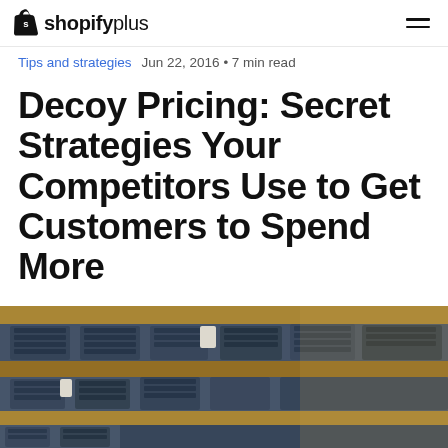shopify plus
Tips and strategies  Jun 22, 2016 • 7 min read
Decoy Pricing: Secret Strategies Your Competitors Use to Get Customers to Spend More
by Aaron Orendorff
[Figure (photo): Close-up photo of folded denim jeans stacked on wooden shelves in a retail store]